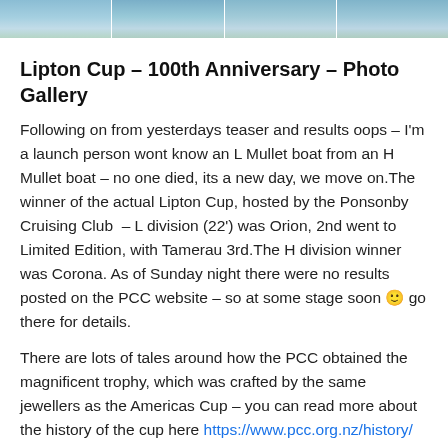[Figure (photo): Four horizontal photo strip images of boats on water]
Lipton Cup – 100th Anniversary – Photo Gallery
Following on from yesterdays teaser and results oops – I'm a launch person wont know an L Mullet boat from an H Mullet boat – no one died, its a new day, we move on.The winner of the actual Lipton Cup, hosted by the Ponsonby Cruising Club  – L division (22') was Orion, 2nd went to Limited Edition, with Tamerau 3rd.The H division winner was Corona. As of Sunday night there were no results posted on the PCC website – so at some stage soon 🙂 go there for details.
There are lots of tales around how the PCC obtained the magnificent trophy, which was crafted by the same jewellers as the Americas Cup – you can read more about the history of the cup here https://www.pcc.org.nz/history/